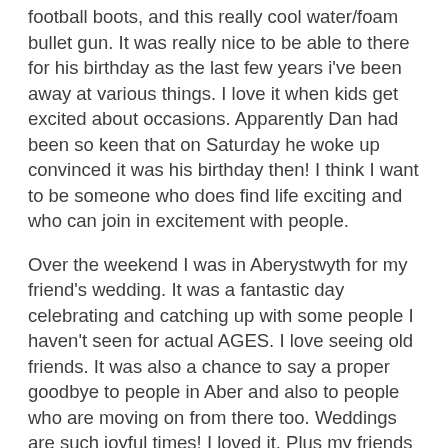football boots, and this really cool water/foam bullet gun. It was really nice to be able to there for his birthday as the last few years i've been away at various things. I love it when kids get excited about occasions. Apparently Dan had been so keen that on Saturday he woke up convinced it was his birthday then! I think I want to be someone who does find life exciting and who can join in excitement with people.
Over the weekend I was in Aberystwyth for my friend's wedding. It was a fantastic day celebrating and catching up with some people I haven't seen for actual AGES. I love seeing old friends. It was also a chance to say a proper goodbye to people in Aber and also to people who are moving on from there too. Weddings are such joyful times! I loved it. Plus my friends Pinch and Malc were the photographers (www.mustardyellowphotography.blogspot.com) and I was staying with them before and after the wedding. They let me edit a few of the photos from the wedding! Ha. It's been a really fun week.
I've been thinking lots about shared vision and getting